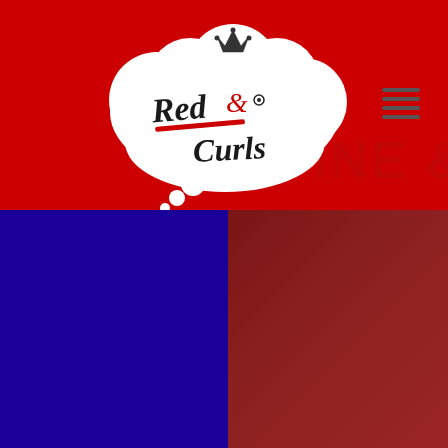[Figure (logo): Red & Curls logo — thought bubble cloud shape containing script text 'Red & Curls' with a crown and decorative elements, on red background]
[Figure (photo): Blue background on lower left (solid dark blue/purple gradient), and a close-up of a product jar label on lower right showing partial text: MANGO PA... / CURL DEFI... / CUSTA... / NATURAL STYL... on a dark red background]